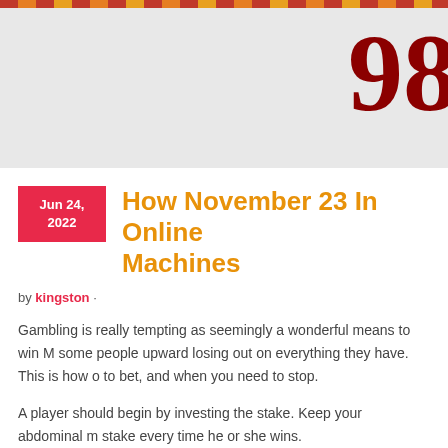98
How November 23 In Online Machines
by kingston ·
Gambling is really tempting as seemingly a wonderful means to win M some people upward losing out on everything they have. This is how o to bet, and when you need to stop.
A player should begin by investing the stake. Keep your abdominal m stake every time he or she wins.
There some online slot games get been free or pay for them, actually m machines' sharp graphics and all the stops and whistles that you will s